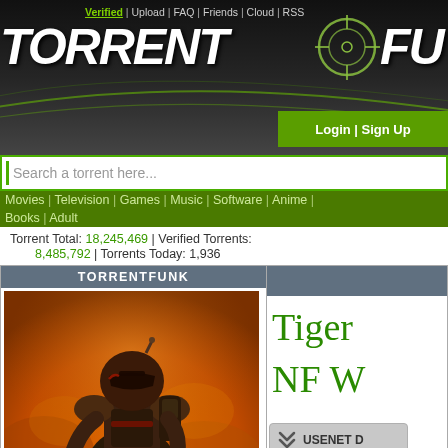Verified | Upload | FAQ | Friends | Cloud | RSS
TORRENT FUNK
Login | Sign Up
Search a torrent here...
Movies | Television | Games | Music | Software | Anime | Books | Adult
Torrent Total: 18,245,469 | Verified Torrents: 8,485,792 | Torrents Today: 1,936
TORRENTFUNK
[Figure (photo): A stylized image of Boba Fett (Star Wars bounty hunter) in armor against an orange fiery background]
Tiger
NF W
[Figure (other): Usenet button with double chevron icon and USENET D label]